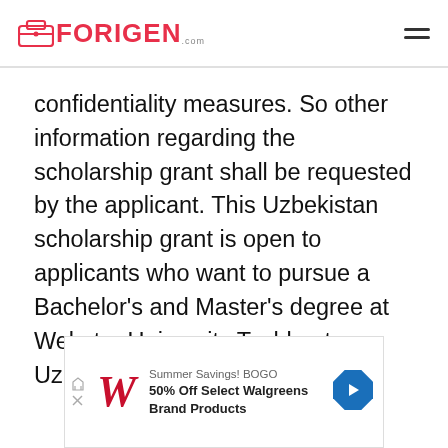FORIGEN.com
confidentiality measures. So other information regarding the scholarship grant shall be requested by the applicant. This Uzbekistan scholarship grant is open to applicants who want to pursue a Bachelor's and Master's degree at Webster University Tashkent, Uzbekistan.
[Figure (other): Advertisement banner for Walgreens: Summer Savings! BOGO 50% Off Select Walgreens Brand Products]